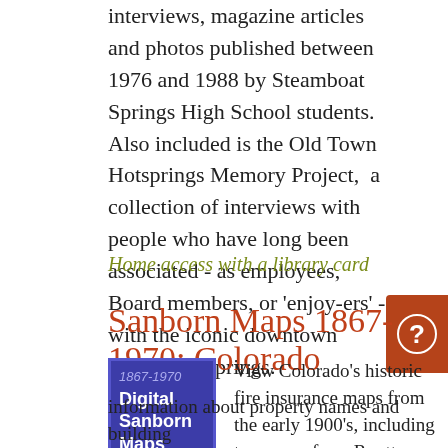interviews, magazine articles and photos published between 1976 and 1988 by Steamboat Springs High School students. Also included is the Old Town Hotsprings Memory Project, a collection of interviews with people who have long been associated - as employees, Board members, or 'enjoy-ers' - with the iconic downtown Steamboat springs.
Home access with a library card
Sanborn Maps 1867-1970: Colorado
[Figure (logo): Blue square logo reading '1867-1970 Digital Sanborn Maps' in white text on blue background]
View Colorado's historic fire insurance maps from the early 1900's, including two maps from Routt County. The maps provide information about property names and building